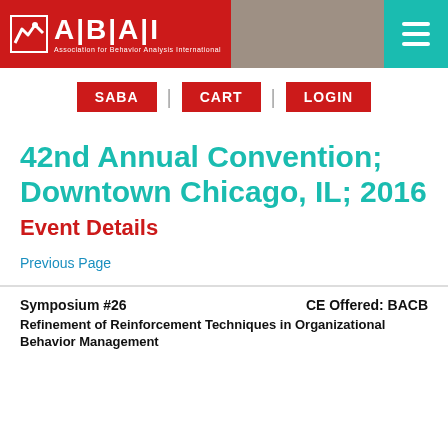[Figure (logo): ABAI (Association for Behavior Analysis International) logo in red header bar with hamburger menu icon in teal on the right]
SABA | CART | LOGIN
42nd Annual Convention; Downtown Chicago, IL; 2016
Event Details
Previous Page
Symposium #26    CE Offered: BACB
Refinement of Reinforcement Techniques in Organizational Behavior Management